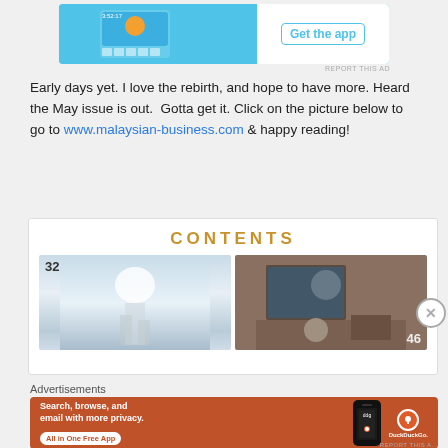[Figure (screenshot): Top advertisement banner with blue background showing a mobile app screenshot on the left and a 'Get the app' button on the right]
Early days yet. I love the rebirth, and hope to have more. Heard the May issue is out.  Gotta get it. Click on the picture below to go to www.malaysian-business.com & happy reading!
[Figure (screenshot): A magazine contents page preview showing the word CONTENTS in gold letters with two article images below, numbered 32 and 46]
Advertisements
[Figure (screenshot): DuckDuckGo advertisement banner on orange-red background with text 'Search, browse, and email with more privacy. All in One Free App' and DuckDuckGo logo with phone image]